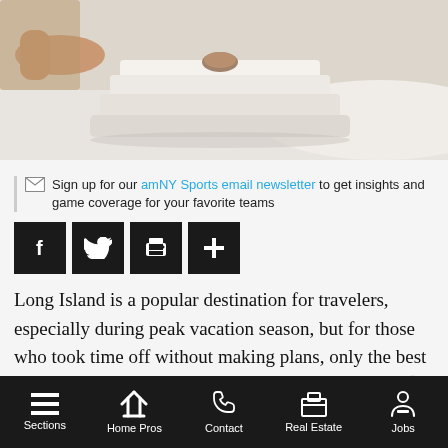[Figure (photo): Hands folding or stacking white linens/towels on a bed]
Sign up for our amNY Sports email newsletter to get insights and game coverage for your favorite teams
[Figure (infographic): Social sharing buttons: Facebook, Twitter, Print, More]
Long Island is a popular destination for travelers, especially during peak vacation season, but for those who took time off without making plans, only the best last-minute staycation will do.
Sections | Home Pros | Contact | Real Estate | Jobs